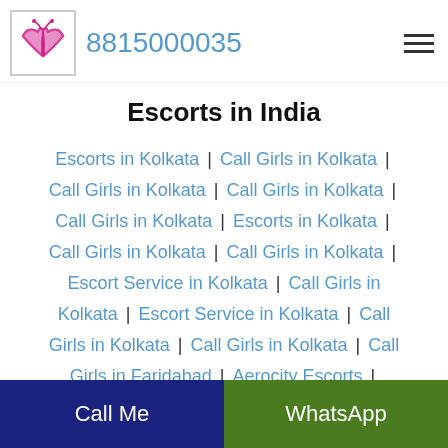8815000035
Escorts in India
Escorts in Kolkata | Call Girls in Kolkata | Call Girls in Kolkata | Call Girls in Kolkata | Call Girls in Kolkata | Escorts in Kolkata | Call Girls in Kolkata | Call Girls in Kolkata | Escort Service in Kolkata | Call Girls in Kolkata | Escort Service in Kolkata | Call Girls in Kolkata | Call Girls in Kolkata | Call Girls in Faridabad | Aerocity Escorts | Kolkata Escorts | Escort Service in Jalandhar
Call Me | WhatsApp